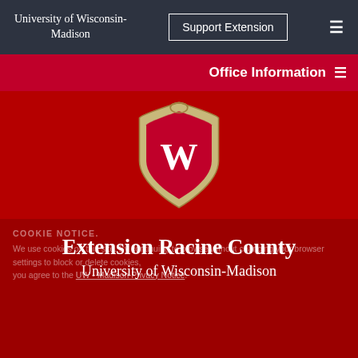University of Wisconsin-Madison
Support Extension
Office Information
[Figure (logo): University of Wisconsin-Madison crest/shield logo with W on red background]
Extension Racine County
University of Wisconsin-Madison
COOKIE NOTICE
We use cookies on this site. By continuing to browse without changing your browser settings to block or delete cookies, you agree to the UW - Madison Privacy Notice.
Search...
GOT IT!